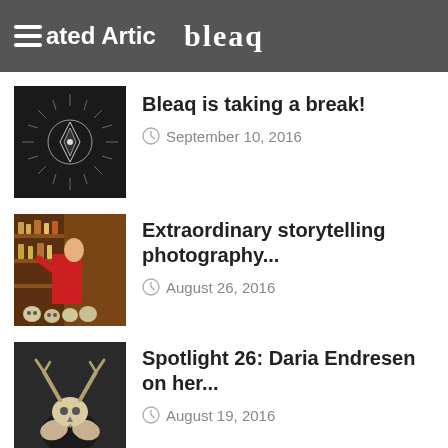bleaq — Related Articles
Bleaq is taking a break!
September 10, 2016
Extraordinary storytelling photography...
August 26, 2016
Spotlight 26: Daria Endresen on her...
August 19, 2016